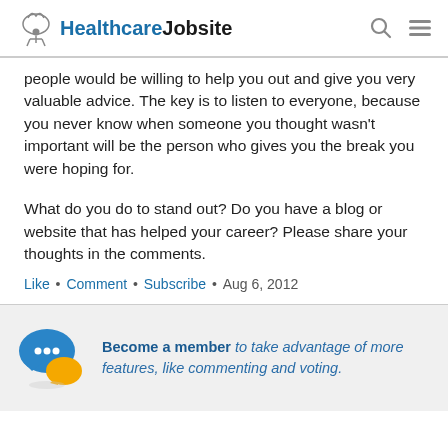HealthcareJobsite
people would be willing to help you out and give you very valuable advice. The key is to listen to everyone, because you never know when someone you thought wasn't important will be the person who gives you the break you were hoping for.
What do you do to stand out? Do you have a blog or website that has helped your career? Please share your thoughts in the comments.
Like • Comment • Subscribe • Aug 6, 2012
Become a member to take advantage of more features, like commenting and voting.